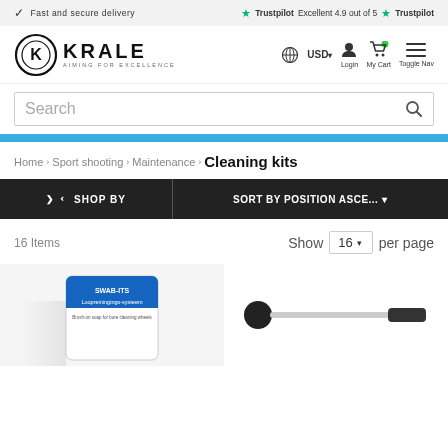Fast and secure delivery | Excellent 4.9 out of 5 Trustpilot
[Figure (logo): Krale logo - circular K emblem with text KRALE AIMING FOR EXCELLENCE]
Login  My Cart  Toggle Nav
Search
Home > Sport shooting > Maintenance > Cleaning kits
SHOP BY  |  SORT BY POSITION ASCE...
16 Items  Show 16 per page
[Figure (photo): Product image: cleaning kit - Loopreiningings-systeem package]
[Figure (photo): Product image: cleaning rod tool]